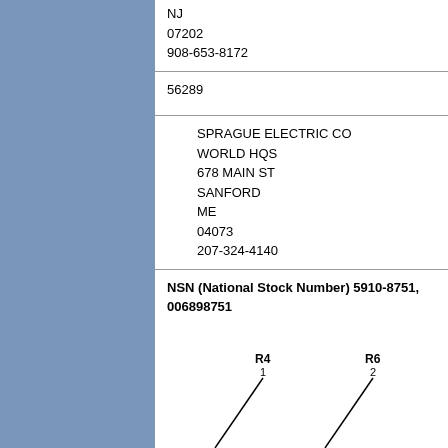NJ
07202
908-653-8172
56289
SPRAGUE ELECTRIC CO
WORLD HQS
678 MAIN ST
SANFORD
ME
04073
207-324-4140
NSN (National Stock Number) 5910-8751, 006898751
[Figure (engineering-diagram): Partial engineering/schematic diagram showing component leads labeled R4 (lead 1) and R6 (lead 2) with diagonal lines representing component leads extending downward]